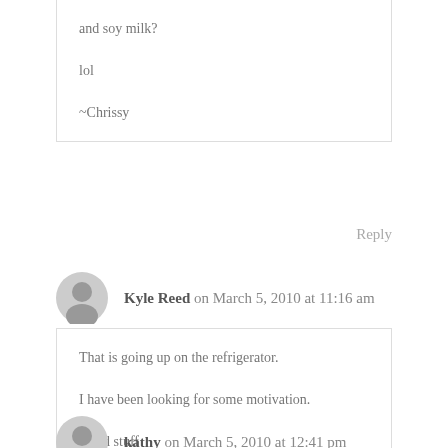and soy milk?
lol
~Chrissy
Reply
Kyle Reed on March 5, 2010 at 11:16 am
That is going up on the refrigerator.
I have been looking for some motivation.
Good stuff
Reply
kathy on March 5, 2010 at 12:41 pm